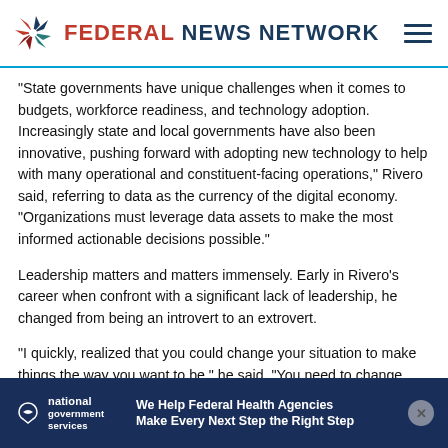FEDERAL NEWS NETWORK
“State governments have unique challenges when it comes to budgets, workforce readiness, and technology adoption. Increasingly state and local governments have also been innovative, pushing forward with adopting new technology to help with many operational and constituent-facing operations,” Rivero said, referring to data as the currency of the digital economy. “Organizations must leverage data assets to make the most informed actionable decisions possible.”
Leadership matters and matters immensely. Early in Rivero’s career when confront with a significant lack of leadership, he changed from being an introvert to an extrovert.
“I quickly, realized that you could change your situation to make things the way you want to be,” he said. “You need to change streams to be in the right place.”
[Figure (other): National Government Services advertisement banner: 'We Help Federal Health Agencies Make Every Next Step the Right Step']